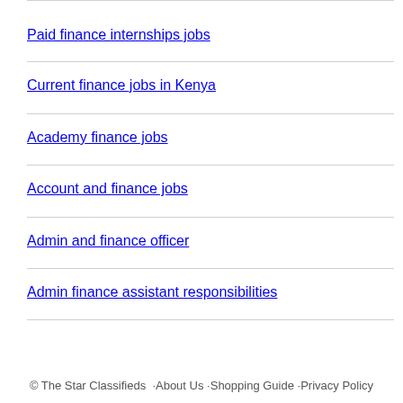Paid finance internships jobs
Current finance jobs in Kenya
Academy finance jobs
Account and finance jobs
Admin and finance officer
Admin finance assistant responsibilities
© The Star Classifieds · About Us · Shopping Guide · Privacy Policy